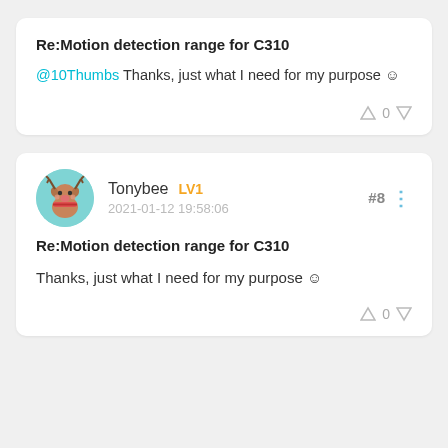Re:Motion detection range for C310
@10Thumbs Thanks, just what I need for my purpose ☺
Tonybee LV1
2021-01-12 19:58:06
#8
Re:Motion detection range for C310
Thanks, just what I need for my purpose ☺